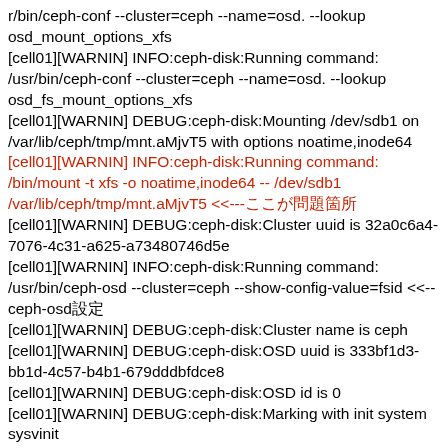r/bin/ceph-conf --cluster=ceph --name=osd. --lookup osd_mount_options_xfs
[cell01][WARNIN] INFO:ceph-disk:Running command: /usr/bin/ceph-conf --cluster=ceph --name=osd. --lookup osd_fs_mount_options_xfs
[cell01][WARNIN] DEBUG:ceph-disk:Mounting /dev/sdb1 on /var/lib/ceph/tmp/mnt.aMjvT5 with options noatime,inode64
[cell01][WARNIN] INFO:ceph-disk:Running command: /bin/mount -t xfs -o noatime,inode64 -- /dev/sdb1 /var/lib/ceph/tmp/mnt.aMjvT5 <<---ここが問題箇所
[cell01][WARNIN] DEBUG:ceph-disk:Cluster uuid is 32a0c6a4-7076-4c31-a625-a73480746d5e
[cell01][WARNIN] INFO:ceph-disk:Running command: /usr/bin/ceph-osd --cluster=ceph --show-config-value=fsid <<--ceph-osd設定
[cell01][WARNIN] DEBUG:ceph-disk:Cluster name is ceph
[cell01][WARNIN] DEBUG:ceph-disk:OSD uuid is 333bf1d3-bb1d-4c57-b4b1-679dddbfdce8
[cell01][WARNIN] DEBUG:ceph-disk:OSD id is 0
[cell01][WARNIN] DEBUG:ceph-disk:Marking with init system sysvinit